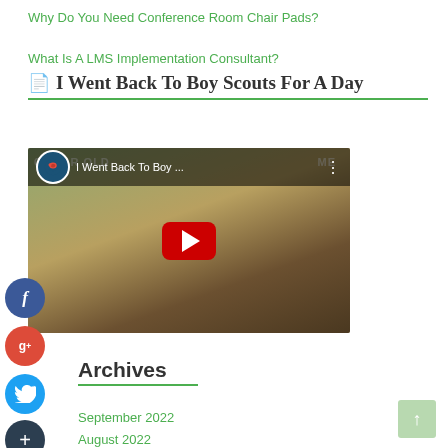Why Do You Need Conference Room Chair Pads?
What Is A LMS Implementation Consultant?
I Went Back To Boy Scouts For A Day
[Figure (screenshot): YouTube video thumbnail for 'I Went Back To Boy Scouts For A Day' showing a person sitting by a campfire, with a play button overlay and channel avatar.]
Archives
September 2022
August 2022